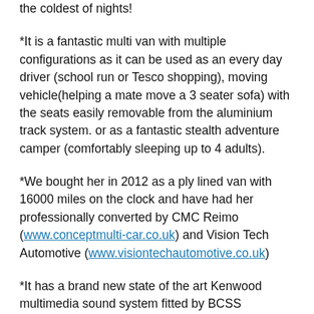the coldest of nights!
*It is a fantastic multi van with multiple configurations as it can be used as an every day driver (school run or Tesco shopping), moving vehicle(helping a mate move a 3 seater sofa) with the seats easily removable from the aluminium track system. or as a fantastic stealth adventure camper (comfortably sleeping up to 4 adults).
*We bought her in 2012 as a ply lined van with 16000 miles on the clock and have had her professionally converted by CMC Reimo (www.conceptmulti-car.co.uk) and Vision Tech Automotive (www.visiontechautomotive.co.uk)
*It has a brand new state of the art Kenwood multimedia sound system fitted by BCSS (www.briancarsounds.co.uk)
*It has a full service history which was bought from and serviced by Eurovans in Crawley. (www.thejcbgroup.co.uk)